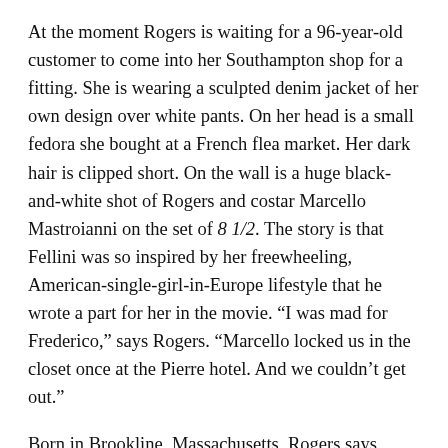At the moment Rogers is waiting for a 96-year-old customer to come into her Southampton shop for a fitting. She is wearing a sculpted denim jacket of her own design over white pants. On her head is a small fedora she bought at a French flea market. Her dark hair is clipped short. On the wall is a huge black-and-white shot of Rogers and costar Marcello Mastroianni on the set of 8 1/2. The story is that Fellini was so inspired by her freewheeling, American-single-girl-in-Europe lifestyle that he wrote a part for her in the movie. “I was mad for Frederico,” says Rogers. “Marcello locked us in the closet once at the Pierre hotel. And we couldn’t get out.”
Born in Brookline, Massachusetts, Rogers says